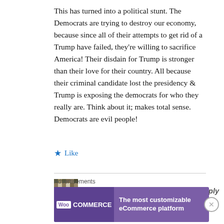This has turned into a political stunt. The Democrats are trying to destroy our economy, because since all of their attempts to get rid of a Trump have failed, they’re willing to sacrifice America! Their disdain for Trump is stronger than their love for their country. All because their criminal candidate lost the presidency & Trump is exposing the democrats for who they really are. Think about it; makes total sense. Democrats are evil people!
★ Like
Hobby // May 7, 2020 at 9:42 pm // Reply
It’s easy for Northam to make those kind of
Advertisements
[Figure (other): WooCommerce advertisement banner: purple background with WooCommerce logo on left and text 'The most customizable eCommerce platform' on right]